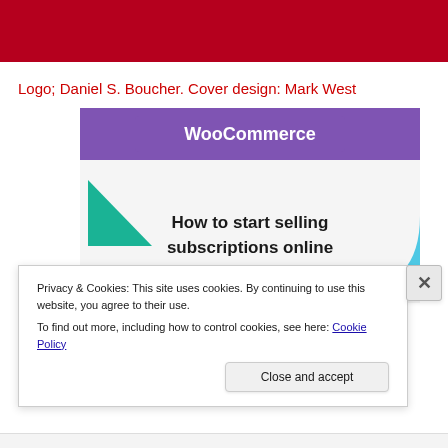[Figure (illustration): Red banner/header bar at top of webpage]
Logo; Daniel S. Boucher. Cover design: Mark West
[Figure (screenshot): WooCommerce cover image showing 'How to start selling subscriptions online' with purple WooCommerce logo banner, teal triangle shape, and blue quarter-circle shape on grey background]
Privacy & Cookies: This site uses cookies. By continuing to use this website, you agree to their use.
To find out more, including how to control cookies, see here: Cookie Policy
Close and accept